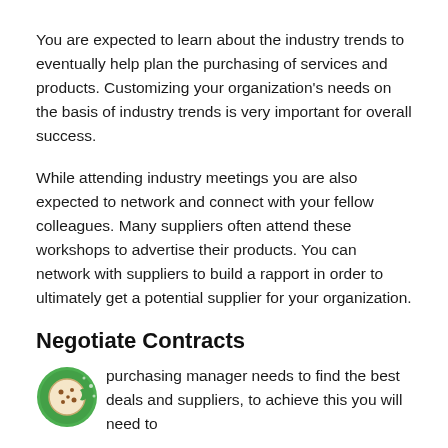You are expected to learn about the industry trends to eventually help plan the purchasing of services and products. Customizing your organization's needs on the basis of industry trends is very important for overall success.
While attending industry meetings you are also expected to network and connect with your fellow colleagues. Many suppliers often attend these workshops to advertise their products. You can network with suppliers to build a rapport in order to ultimately get a potential supplier for your organization.
Negotiate Contracts
A purchasing manager needs to find the best deals and suppliers, to achieve this you will need to